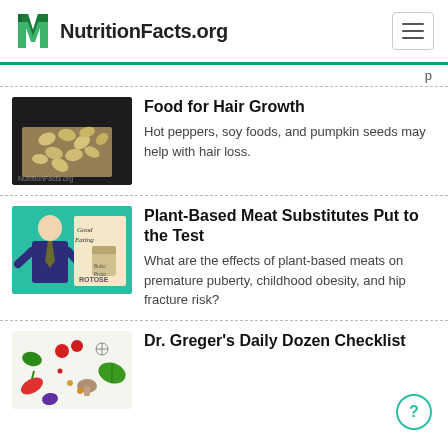NutritionFacts.org
p
Food for Hair Growth
Hot peppers, soy foods, and pumpkin seeds may help with hair loss.
Plant-Based Meat Substitutes Put to the Test
What are the effects of plant-based meats on premature puberty, childhood obesity, and hip fracture risk?
Dr. Greger's Daily Dozen Checklist